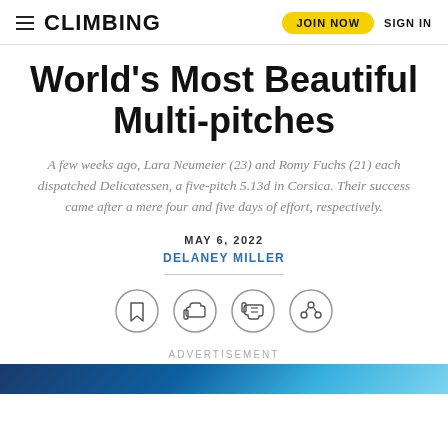CLIMBING | JOIN NOW | SIGN IN
World's Most Beautiful Multi-pitches
A few weeks ago, Lara Neumeier (23) and Romy Fuchs (21) each dispatched Delicatessen, a five-pitch 5.13d in Corsica. Their success came after a mere four and five days of effort, respectively.
MAY 6, 2022
DELANEY MILLER
[Figure (other): Row of four circular icon buttons: bookmark, thumbs up, thumbs down, share]
ADVERTISEMENT
[Figure (photo): Partial blue advertisement image at bottom of page]